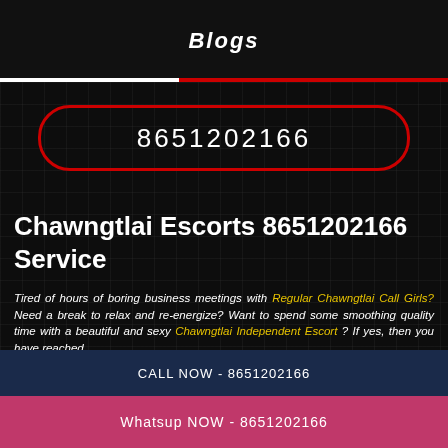Blogs
8651202166
Chawngtlai Escorts 8651202166 Service
Tired of hours of boring business meetings with Regular Chawngtlai Call Girls? Need a break to relax and re-energize? Want to spend some smoothing quality time with a beautiful and sexy Chawngtlai Independent Escort ? If yes, then you have reached
CALL NOW - 8651202166
Whatsup NOW - 8651202166